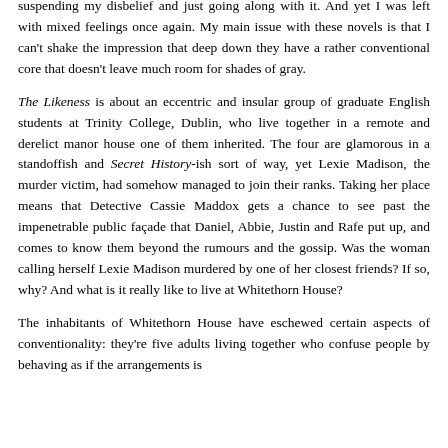suspending my disbelief and just going along with it. And yet I was left with mixed feelings once again. My main issue with these novels is that I can't shake the impression that deep down they have a rather conventional core that doesn't leave much room for shades of gray.
The Likeness is about an eccentric and insular group of graduate English students at Trinity College, Dublin, who live together in a remote and derelict manor house one of them inherited. The four are glamorous in a standoffish and Secret History-ish sort of way, yet Lexie Madison, the murder victim, had somehow managed to join their ranks. Taking her place means that Detective Cassie Maddox gets a chance to see past the impenetrable public façade that Daniel, Abbie, Justin and Rafe put up, and comes to know them beyond the rumours and the gossip. Was the woman calling herself Lexie Madison murdered by one of her closest friends? If so, why? And what is it really like to live at Whitethorn House?
The inhabitants of Whitethorn House have eschewed certain aspects of conventionality: they're five adults living together who confuse people by behaving as if the arrangements is